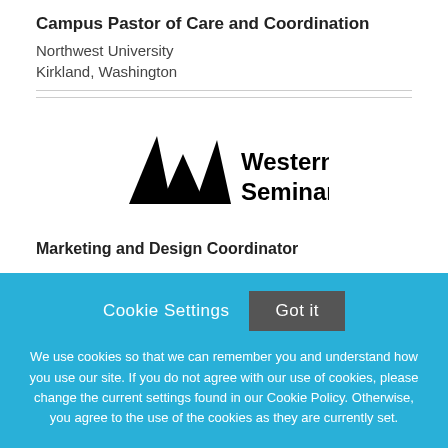Campus Pastor of Care and Coordination
Northwest University
Kirkland, Washington
[Figure (logo): Western Seminary logo with three black triangular/mountain shapes and bold text 'Western Seminary']
Marketing and Design Coordinator
Cookie Settings
Got it
We use cookies so that we can remember you and understand how you use our site. If you do not agree with our use of cookies, please change the current settings found in our Cookie Policy. Otherwise, you agree to the use of the cookies as they are currently set.